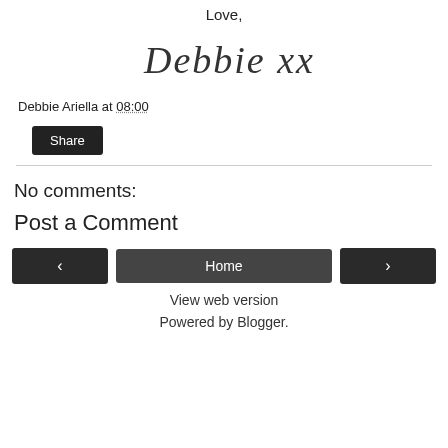Love,
[Figure (illustration): Handwritten cursive signature reading 'Debbie xx']
Debbie Ariella at 08:00
Share
No comments:
Post a Comment
‹
Home
›
View web version
Powered by Blogger.